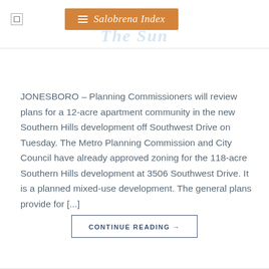Salobrena Index
JONESBORO – Planning Commissioners will review plans for a 12-acre apartment community in the new Southern Hills development off Southwest Drive on Tuesday. The Metro Planning Commission and City Council have already approved zoning for the 118-acre Southern Hills development at 3506 Southwest Drive. It is a planned mixed-use development. The general plans provide for [...]
CONTINUE READING →